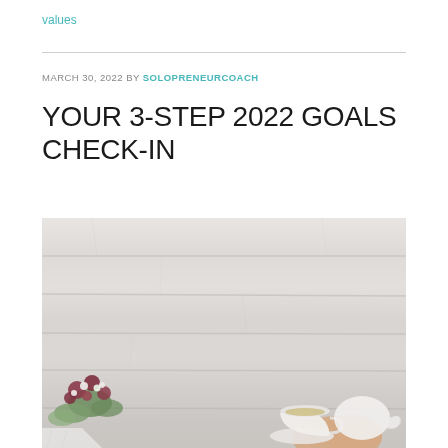values
MARCH 30, 2022 BY SOLOPRENEURCOACH
YOUR 3-STEP 2022 GOALS CHECK-IN
[Figure (photo): Overhead flat lay photo of a light grey wooden table surface with floral arrangement (small dark red and white flowers with green leaves) in lower left, a white teapot and cup of tea being held by a hand in the lower right, and a white cloth/napkin partially visible at bottom left edge.]